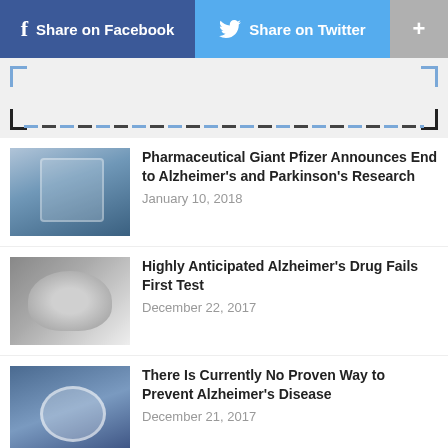f Share on Facebook  Share on Twitter  +
[Figure (other): Dashed coupon/advertisement border area with blue and black dashed lines]
[Figure (photo): Pfizer building exterior photo thumbnail]
Pharmaceutical Giant Pfizer Announces End to Alzheimer's and Parkinson's Research
January 10, 2018
[Figure (photo): Brain scan or pill in water thumbnail]
Highly Anticipated Alzheimer's Drug Fails First Test
December 22, 2017
[Figure (photo): Keyboard with medical icon thumbnail]
There Is Currently No Proven Way to Prevent Alzheimer's Disease
December 21, 2017
[Figure (photo): Inflammation graphic thumbnail with orange-red gradient]
Another Study Reveals Inflammation Accelerates Progression of Alzheimer's